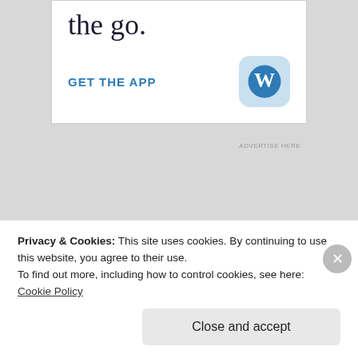[Figure (screenshot): WordPress app advertisement banner showing partial text 'the go.' with 'GET THE APP' link and WordPress logo icon]
ADVERTISE HERE
SEPTEMBER 3, 2013
MUSICAL MUSINGS
LEAVE A COMMENT
Privacy & Cookies: This site uses cookies. By continuing to use this website, you agree to their use.
To find out more, including how to control cookies, see here: Cookie Policy
Close and accept